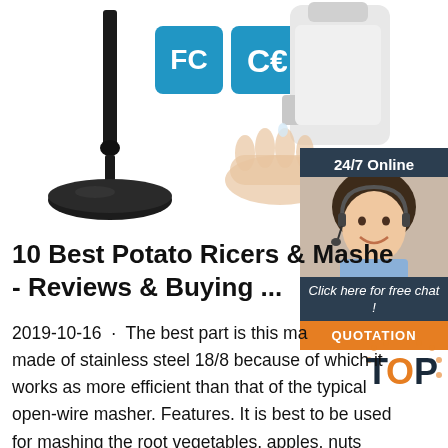[Figure (photo): Product image showing a black microphone stand on a round base on the left, and a white automatic soap/hand sanitizer dispenser with a hand underneath on the right. FCC and CE certification badges visible in blue squares. A 24/7 Online customer service chat widget with a female agent photo on the far right, with a 'Click here for free chat!' prompt and an orange QUOTATION button. A 'TOP' watermark in the lower right.]
10 Best Potato Ricers & Mashe - Reviews & Buying ...
2019-10-16 · The best part is this ma made of stainless steel 18/8 because of which it works as more efficient than that of the typical open-wire masher. Features. It is best to be used for mashing the root vegetables, apples, nuts and avocadoes too; It comes with stainless steel